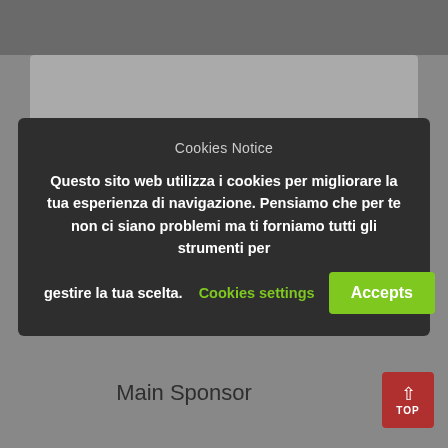[Figure (screenshot): Website page background with grey overlay, partially visible content behind cookie notice modal]
Cookies Notice
Questo sito web utilizza i cookies per migliorare la tua esperienza di navigazione. Pensiamo che per te non ci siano problemi ma ti forniamo tutti gli strumenti per gestire la tua scelta.
Cookies settings
Accepts
Main Sponsor